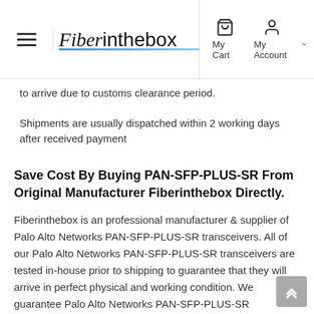Fiberinthebox — My Cart / My Account
to arrive due to customs clearance period.
Shipments are usually dispatched within 2 working days after received payment
Save Cost By Buying PAN-SFP-PLUS-SR From Original Manufacturer Fiberinthebox Directly.
Fiberinthebox is an professional manufacturer & supplier of Palo Alto Networks PAN-SFP-PLUS-SR transceivers. All of our Palo Alto Networks PAN-SFP-PLUS-SR transceivers are tested in-house prior to shipping to guarantee that they will arrive in perfect physical and working condition. We guarantee Palo Alto Networks PAN-SFP-PLUS-SR transceivers to work in your system and all of our Palo Alto Networks PAN-SFP-PLUS-SR transceivers come with a lifetime advance replacement warranty.